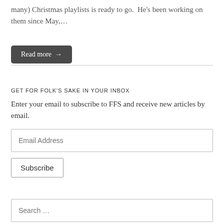many) Christmas playlists is ready to go.  He's been working on them since May,…
Read more →
GET FOR FOLK'S SAKE IN YOUR INBOX
Enter your email to subscribe to FFS and receive new articles by email.
Email Address
Subscribe
Search …